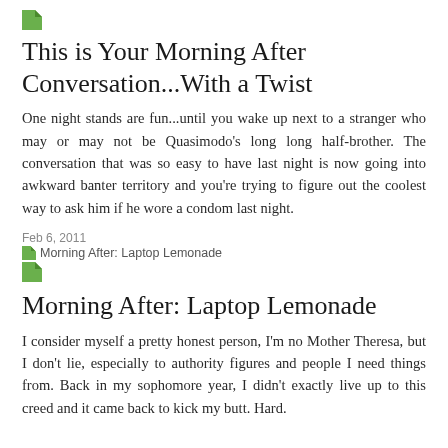[Figure (logo): Small green folded page/document icon]
This is Your Morning After Conversation...With a Twist
One night stands are fun...until you wake up next to a stranger who may or may not be Quasimodo's long long half-brother. The conversation that was so easy to have last night is now going into awkward banter territory and you're trying to figure out the coolest way to ask him if he wore a condom last night.
Feb 6, 2011
Morning After: Laptop Lemonade
[Figure (logo): Small green folded page/document icon]
Morning After: Laptop Lemonade
I consider myself a pretty honest person, I'm no Mother Theresa, but I don't lie, especially to authority figures and people I need things from. Back in my sophomore year, I didn't exactly live up to this creed and it came back to kick my butt. Hard.